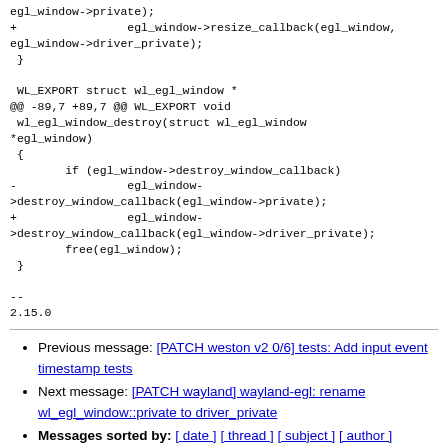egl_window->private);
+                egl_window->resize_callback(egl_window,
egl_window->driver_private);
 }

 WL_EXPORT struct wl_egl_window *
@@ -89,7 +89,7 @@ WL_EXPORT void
 wl_egl_window_destroy(struct wl_egl_window
*egl_window)
 {
        if (egl_window->destroy_window_callback)
-                egl_window-
>destroy_window_callback(egl_window->private);
+                egl_window-
>destroy_window_callback(egl_window->driver_private);
        free(egl_window);
 }

--
2.15.0
Previous message: [PATCH weston v2 0/6] tests: Add input event timestamp tests
Next message: [PATCH wayland] wayland-egl: rename wl_egl_window::private to driver_private
Messages sorted by: [ date ] [ thread ] [ subject ] [ author ]